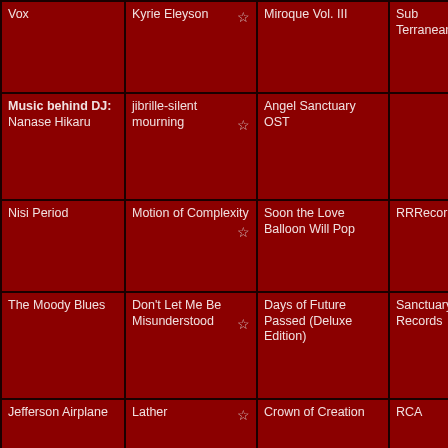| Artist | Song | Album | Label | Year | Format |
| --- | --- | --- | --- | --- | --- |
| Vox | Kyrie Eleyson ☆ | Miroque Vol. III | Sub Terranean | 1998 |  |
| Music behind DJ: Nanase Hikaru | jibrille-silent mourning ☆ | Angel Sanctuary OST |  |  |  |
| Nisi Period | Motion of Complexity ☆ | Soon the Love Balloon Will Pop | RRRecords | 1992 | LP |
| The Moody Blues | Don't Let Me Be Misunderstood ☆ | Days of Future Passed (Deluxe Edition) | Sanctuary Records |  |  |
| Jefferson Airplane | Lather ☆ | Crown of Creation | RCA | 1968 |  |
| Nena | At the Movies ☆ | It's All In The Game (reissue) | EPIC | 1985 |  |
| The Kinks | Groovy Movies ☆ | Village Green Preservation Society - Special | Sanctuary |  |  |